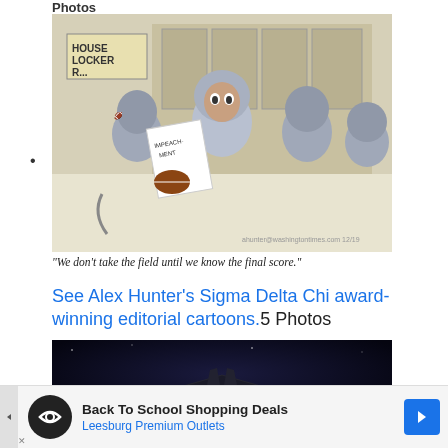Photos
[Figure (illustration): Editorial cartoon showing political figures in football gear in a locker room setting with 'House Locker R...' sign, one holding a paper that says 'IMPEACHMENT' and a football. Caption: 'We don't take the field until we know the final score.']
"We don't take the field until we know the final score."
See Alex Hunter's Sigma Delta Chi award-winning editorial cartoons.5 Photos
[Figure (photo): Dark photo of a stealth aircraft (fighter jet) with green and red navigation lights visible against a dark sky background.]
[Figure (other): Advertisement banner: Back To School Shopping Deals - Leesburg Premium Outlets]